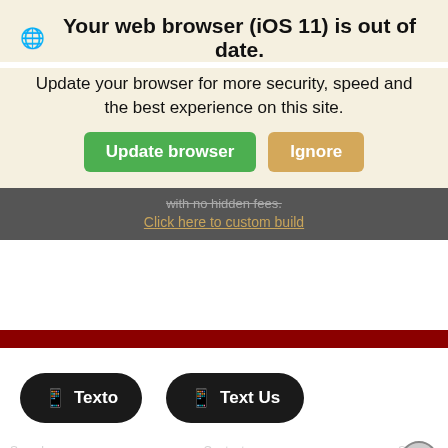🌐 Your web browser (iOS 11) is out of date.
Update your browser for more security, speed and the best experience on this site.
Update browser   Ignore
with no hidden fees.
Click here to custom build
[Figure (screenshot): White empty content area below dark bar]
[Figure (infographic): Dark red horizontal bar divider]
[Figure (screenshot): Two black rounded pill buttons: Texto and Text Us with phone icons]
[Figure (infographic): Ad bar at bottom: FREE $35 VISA GIFT CARD with any test drive - CLICK FOR INFO, with close X button, search icon, and navigation labels]